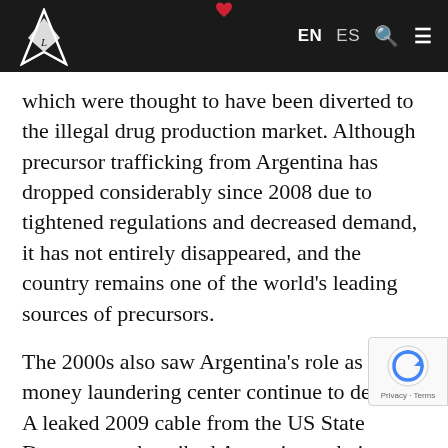EN ES [search] [menu]
which were thought to have been diverted to the illegal drug production market. Although precursor trafficking from Argentina has dropped considerably since 2008 due to tightened regulations and decreased demand, it has not entirely disappeared, and the country remains one of the world's leading sources of precursors.
The 2000s also saw Argentina's role as a money laundering center continue to develop. A leaked 2009 cable from the US State Department described Argentina as being "ripe for exploitation" by criminal interests due to w described as "near complete absence of